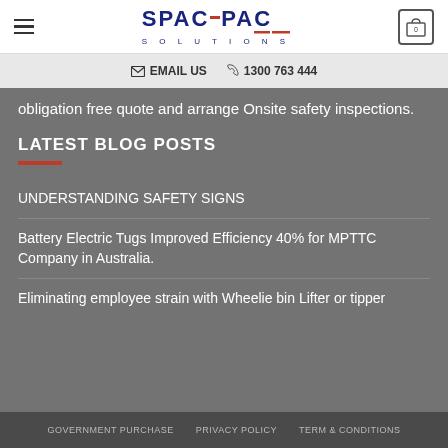SPACEPAC SOLUTIONS — hamburger menu and cart icon
EMAIL US   1300 763 444
obligation free quote and arrange Onsite safety inspections.
LATEST BLOG POSTS
UNDERSTANDING SAFETY SIGNS
Battery Electric Tugs Improved Efficiency 40% for MPTTC Company in Australia.
Eliminating employee strain with Wheelie bin Lifter or tipper
GOVERNMENT PURCHASE   PRIVACY POLICY   TERM & CONDITIONS